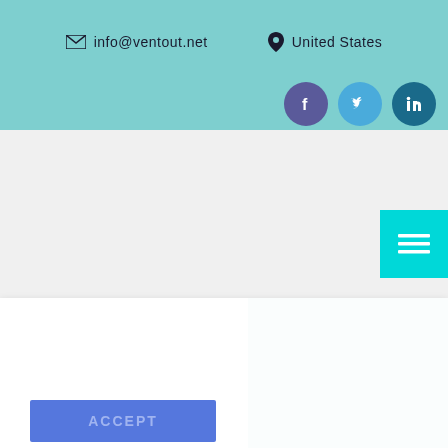info@ventout.net   United States
[Figure (other): Social media icons: Facebook, Twitter, LinkedIn circles]
[Figure (other): Hamburger menu button on cyan background]
By continuing to use this website, you consent to the use of cookies in accordance with our Cookie Policy.
ACCEPT
st relevant repeat of ALL the